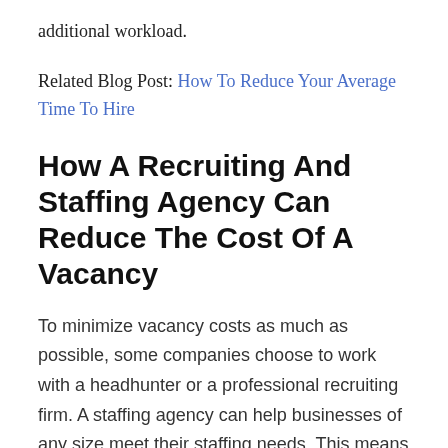additional workload.
Related Blog Post: How To Reduce Your Average Time To Hire
How A Recruiting And Staffing Agency Can Reduce The Cost Of A Vacancy
To minimize vacancy costs as much as possible, some companies choose to work with a headhunter or a professional recruiting firm. A staffing agency can help businesses of any size meet their staffing needs. This means hiring managers get quicker access to skilled